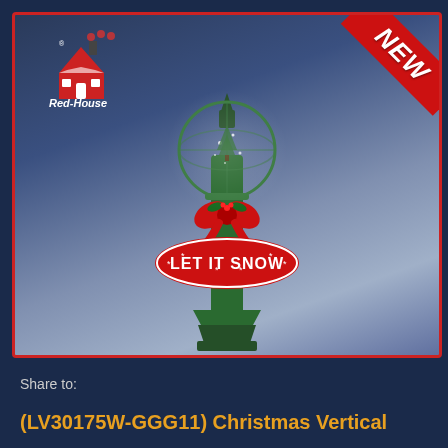[Figure (photo): Christmas vertical lamp post product photo with a green pole, globe snow globe on top, red bow/wreath decoration, 'LET IT SNOW' oval sign, on a blue-to-grey gradient background. Red-House brand logo in top left. 'NEW' red ribbon banner in top right corner.]
Share to:
(LV30175W-GGG11) Christmas Vertical